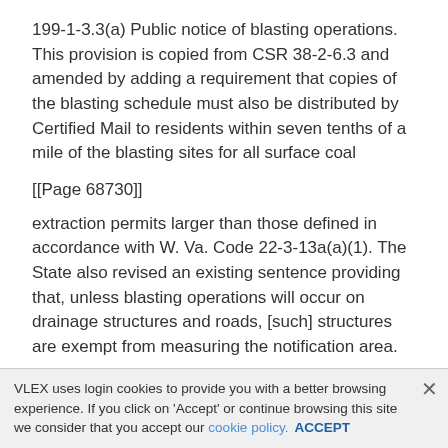199-1-3.3(a) Public notice of blasting operations. This provision is copied from CSR 38-2-6.3 and amended by adding a requirement that copies of the blasting schedule must also be distributed by Certified Mail to residents within seven tenths of a mile of the blasting sites for all surface coal
[[Page 68730]]
extraction permits larger than those defined in accordance with W. Va. Code 22-3-13a(a)(1). The State also revised an existing sentence providing that, unless blasting operations will occur on drainage structures and roads, [such] structures are exempt from measuring the notification area. In addition, the
VLEX uses login cookies to provide you with a better browsing experience. If you click on 'Accept' or continue browsing this site we consider that you accept our cookie policy. ACCEPT